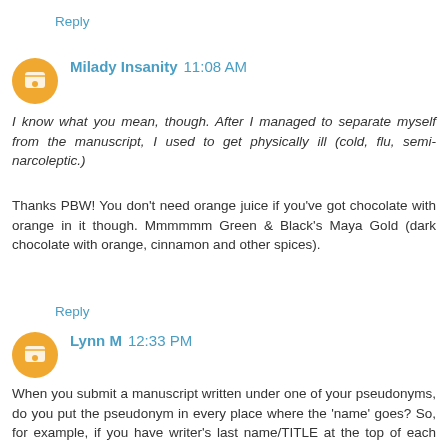Reply
Milady Insanity 11:08 AM
I know what you mean, though. After I managed to separate myself from the manuscript, I used to get physically ill (cold, flu, semi-narcoleptic.)

Thanks PBW! You don't need orange juice if you've got chocolate with orange in it though. Mmmmmm Green & Black's Maya Gold (dark chocolate with orange, cinnamon and other spices).
Reply
Lynn M 12:33 PM
When you submit a manuscript written under one of your pseudonyms, do you put the pseudonym in every place where the 'name' goes? So, for example, if you have writer's last name/TITLE at the top of each page, and you were submitting a 'Jessican Hall' novel, would it read